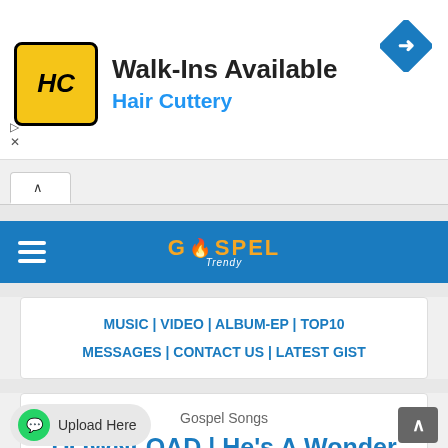[Figure (other): Hair Cuttery advertisement banner with HC logo, text 'Walk-Ins Available' and 'Hair Cuttery', blue arrow icon on right]
[Figure (logo): Gospel Trendy website navigation bar with hamburger menu and orange/gold GOSPEL Trendy flame logo on blue background]
MUSIC | VIDEO | ALBUM-EP | TOP10 MESSAGES | CONTACT US | LATEST GIST
Gospel Songs
DOWNLOAD | He's A Wonder Lyric Video By Israel & New Breed Ft. Chandler Moore